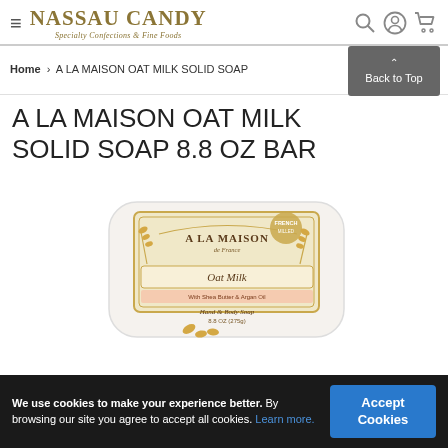Nassau Candy — Specialty Confections & Fine Foods
Home > A LA MAISON OAT MILK SOLID SOAP 8.8 OZ BAR
A LA MAISON OAT MILK SOLID SOAP 8.8 OZ BAR
[Figure (photo): A La Maison Oat Milk solid soap bar, 8.8 oz, white bar with cream/gold label reading 'A LA MAISON de France, Oat Milk, Hand & Body Soap, 8.8 OZ (275g)', with wheat decoration and 'French' stamp. Label includes 'With Shea Butter & Argan Oil'.]
We use cookies to make your experience better. By browsing our site you agree to accept all cookies. Learn more.